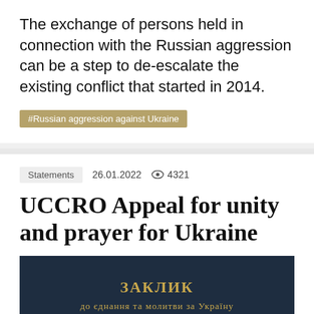The exchange of persons held in connection with the Russian aggression can be a step to de-escalate the existing conflict that started in 2014.
#Russian aggression against Ukraine
Statements   26.01.2022   4321
UCCRO Appeal for unity and prayer for Ukraine
[Figure (other): Dark navy blue background with gold Cyrillic text reading ЗАКЛИК and до єднання та молитви за Україну]